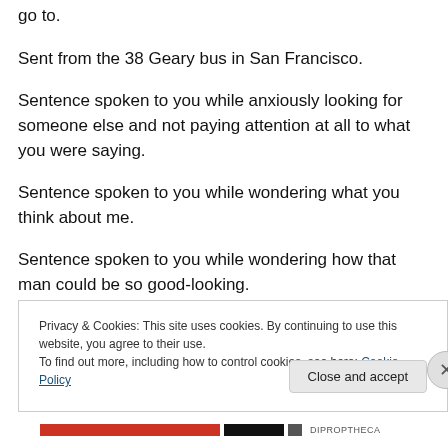go to.
Sent from the 38 Geary bus in San Francisco.
Sentence spoken to you while anxiously looking for someone else and not paying attention at all to what you were saying.
Sentence spoken to you while wondering what you think about me.
Sentence spoken to you while wondering how that man could be so good-looking.
Privacy & Cookies: This site uses cookies. By continuing to use this website, you agree to their use.
To find out more, including how to control cookies, see here: Cookie Policy
Close and accept